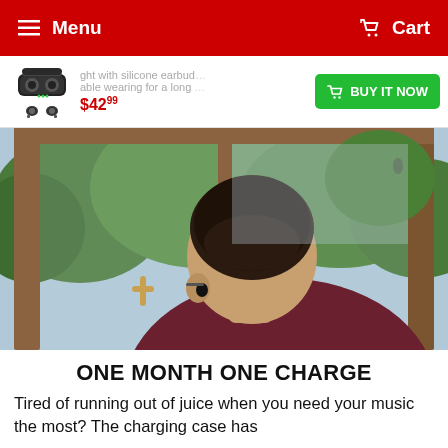Menu   Cart
ght with silicone earbud... able wearing for a long ...  $42.99  BUY IT NOW
[Figure (photo): Person with short hair wearing earbuds, viewed from behind, looking out through a framed glass door at trees and sky outdoors.]
ONE MONTH ONE CHARGE
Tired of running out of juice when you need your music the most? The charging case has